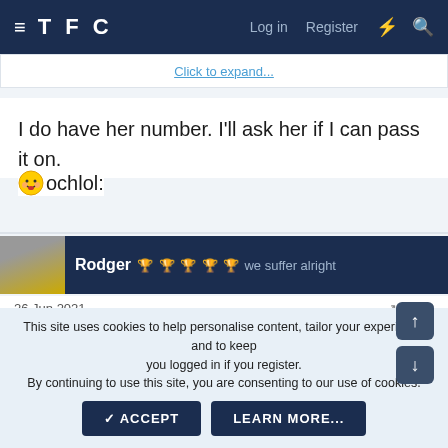TFC  Log in  Register
Click to expand...
I do have her number. I'll ask her if I can pass it on.
:ochlol:
Rodger   we suffer alright
26 Jun 2021  #128
Guido said:
Pussies!
This site uses cookies to help personalise content, tailor your experience and to keep you logged in if you register.
By continuing to use this site, you are consenting to our use of cookies.
ACCEPT  LEARN MORE...